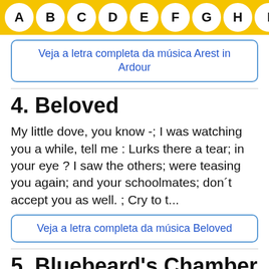A B C D E F G H I J
Veja a letra completa da música Arest in Ardour
4. Beloved
My little dove, you know -; I was watching you a while, tell me : Lurks there a tear; in your eye ? I saw the others; were teasing you again; and your schoolmates; don´t accept you as well. ; Cry to t...
Veja a letra completa da música Beloved
5. Bluebeard's Chamber